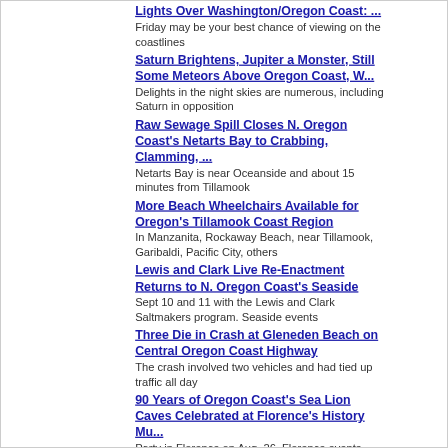Lights Over Washington/Oregon Coast: ...
Friday may be your best chance of viewing on the coastlines
Saturn Brightens, Jupiter a Monster, Still Some Meteors Above Oregon Coast, W...
Delights in the night skies are numerous, including Saturn in opposition
Raw Sewage Spill Closes N. Oregon Coast's Netarts Bay to Crabbing, Clamming, ...
Netarts Bay is near Oceanside and about 15 minutes from Tillamook
More Beach Wheelchairs Available for Oregon's Tillamook Coast Region
In Manzanita, Rockaway Beach, near Tillamook, Garibaldi, Pacific City, others
Lewis and Clark Live Re-Enactment Returns to N. Oregon Coast's Seaside
Sept 10 and 11 with the Lewis and Clark Saltmakers program. Seaside events
Three Die in Crash at Gleneden Beach on Central Oregon Coast Highway
The crash involved two vehicles and had tied up traffic all day
90 Years of Oregon Coast's Sea Lion Caves Celebrated at Florence's History Mu...
Party in Florence on Aug. 26. Florence events
When That Spectacular Glow Hits the Oregon Coast: Surprise Colors Between Yac...
The colors that would erupt around here were mind-bending